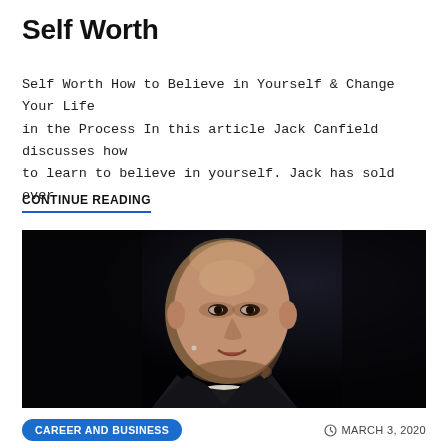Self Worth
Self Worth How to Believe in Yourself & Change Your Life in the Process In this article Jack Canfield discusses how to learn to believe in yourself. Jack has sold over
CONTINUE READING
[Figure (photo): A bald man in a dark suit and light yellow tie speaking at an event against a dark background.]
CAREER AND BUSINESS
MARCH 3, 2020